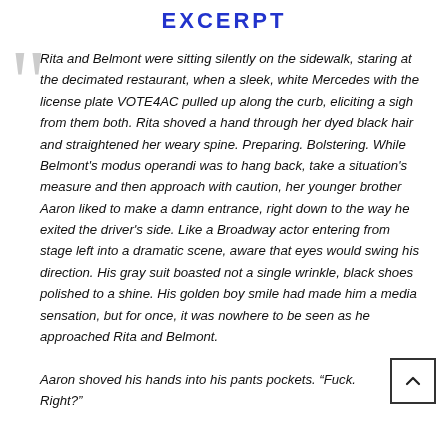EXCERPT
Rita and Belmont were sitting silently on the sidewalk, staring at the decimated restaurant, when a sleek, white Mercedes with the license plate VOTE4AC pulled up along the curb, eliciting a sigh from them both. Rita shoved a hand through her dyed black hair and straightened her weary spine. Preparing. Bolstering. While Belmont's modus operandi was to hang back, take a situation's measure and then approach with caution, her younger brother Aaron liked to make a damn entrance, right down to the way he exited the driver's side. Like a Broadway actor entering from stage left into a dramatic scene, aware that eyes would swing his direction. His gray suit boasted not a single wrinkle, black shoes polished to a shine. His golden boy smile had made him a media sensation, but for once, it was nowhere to be seen as he approached Rita and Belmont.

Aaron shoved his hands into his pants pockets. “Fuck. Right?”